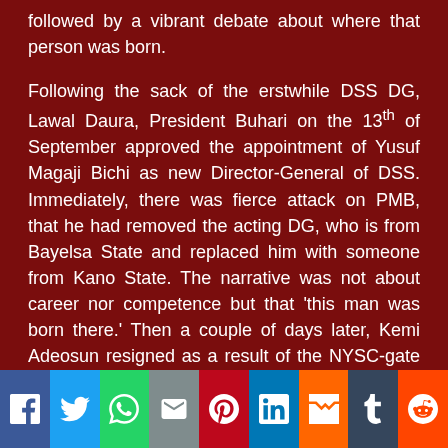followed by a vibrant debate about where that person was born.

Following the sack of the erstwhile DSS DG, Lawal Daura, President Buhari on the 13th of September approved the appointment of Yusuf Magaji Bichi as new Director-General of DSS. Immediately, there was fierce attack on PMB, that he had removed the acting DG, who is from Bayelsa State and replaced him with someone from Kano State. The narrative was not about career nor competence but that 'this man was born there.' Then a couple of days later, Kemi Adeosun resigned as a result of the NYSC-gate and a new Finance Minster in the person of Zainab Shamsuna Ahmed was appointed sparking another round of debate that 'this woman was born there.'
[Figure (other): Social media share buttons bar: Facebook, Twitter, WhatsApp, Email, Pinterest, LinkedIn, Mix, Tumblr, Reddit]